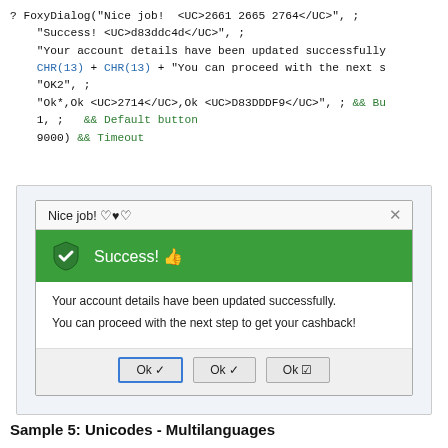? FoxyDialog("Nice job!  <UC>2661 2665 2764</UC>", ;
    "Success! <UC>d83ddc4d</UC>", ;
    "Your account details have been updated successfully
    CHR(13) + CHR(13) + "You can proceed with the next s
    "OK2", ;
    "Ok*,Ok <UC>2714</UC>,Ok <UC>D83DDDF9</UC>", ; && Bu
    1, ;   && Default button
    9000) && Timeout
[Figure (screenshot): A dialog box titled 'Nice job! heart symbols' with a green header showing 'Success! thumbs-up icon', body text 'Your account details have been updated successfully. You can proceed with the next step to get your cashback!' and three buttons: 'Ok checkmark', 'Ok bold-checkmark', 'Ok checkbox']
Sample 5: Unicodes - Multilanguages